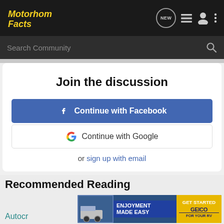Motorhome Facts
Join the discussion
Continue with Facebook
Continue with Google
or sign up with email
Recommended Reading
[Figure (screenshot): GEICO advertisement banner: ENJOYMENT MADE EASY / GET STARTED / GEICO FOR YOUR RV]
Autocr